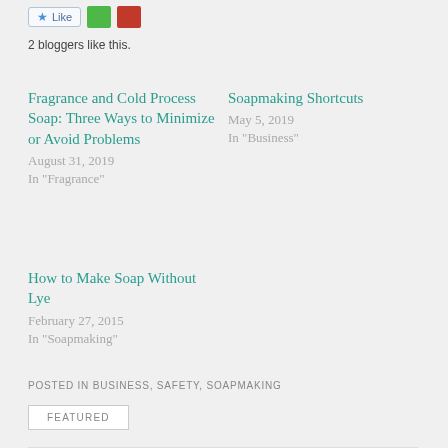[Figure (other): Like button and social sharing icons (green grid icon, pink/red icon)]
2 bloggers like this.
Fragrance and Cold Process Soap: Three Ways to Minimize or Avoid Problems
August 31, 2019
In "Fragrance"
Soapmaking Shortcuts
May 5, 2019
In "Business"
How to Make Soap Without Lye
February 27, 2015
In "Soapmaking"
POSTED IN BUSINESS, SAFETY, SOAPMAKING
FEATURED